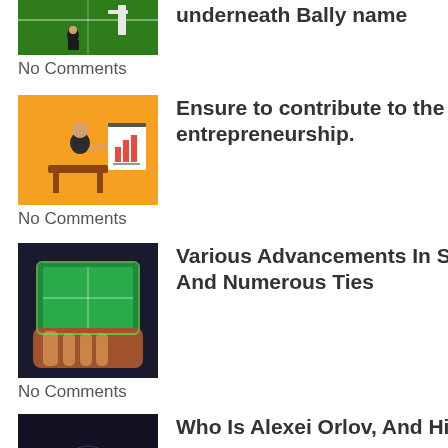[Figure (photo): Partial football field photo at top left]
underneath Bally name
No Comments
[Figure (illustration): Orange background illustration of businessman presenting at board]
Ensure to contribute to the services with a shift in the entrepreneurship.
No Comments
[Figure (photo): Photo of hand holding tablet showing sports broadcast]
Various Advancements In Sinclair Broadcast Group And Numerous Ties
No Comments
[Figure (photo): Dark photo showing crowd with person in center with arms raised]
Who Is Alexei Orlov, And His Motivation Behind MTM?
No Comments
[Figure (photo): Close-up photo of cannabis plants]
Visit the online dispensaries to purchase high-quality weeds at affordable prices.
No Comments
[Figure (photo): Partially visible photo at bottom]
Tips to Care for Loved Ones